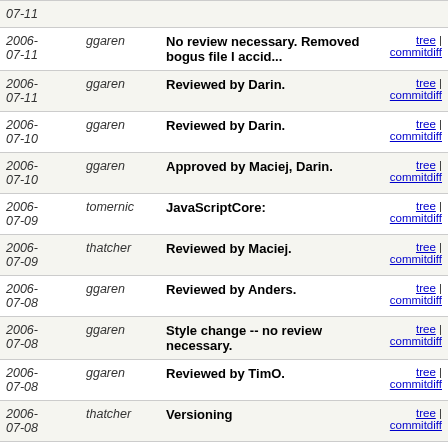| Date | Author | Message | Links |
| --- | --- | --- | --- |
| 2006-07-11 | ggaren | No review necessary. Removed bogus file I accid... | tree | commitdiff |
| 2006-07-11 | ggaren | Reviewed by Darin. | tree | commitdiff |
| 2006-07-10 | ggaren | Reviewed by Darin. | tree | commitdiff |
| 2006-07-10 | ggaren | Approved by Maciej, Darin. | tree | commitdiff |
| 2006-07-09 | tomernic | JavaScriptCore: | tree | commitdiff |
| 2006-07-09 | thatcher | Reviewed by Maciej. | tree | commitdiff |
| 2006-07-08 | ggaren | Reviewed by Anders. | tree | commitdiff |
| 2006-07-08 | ggaren | Style change -- no review necessary. | tree | commitdiff |
| 2006-07-08 | ggaren | Reviewed by TimO. | tree | commitdiff |
| 2006-07-08 | thatcher | Versioning | tree | commitdiff |
| 2006-07-08 | ggaren | Reviewed by Maciej. | tree | commitdiff |
| 2006-07-08 | ggaren | Reviewed by Maciej. | tree | commitdiff |
| 2006-07-07 | ggaren | Reviewed by John. | tree | commitdiff |